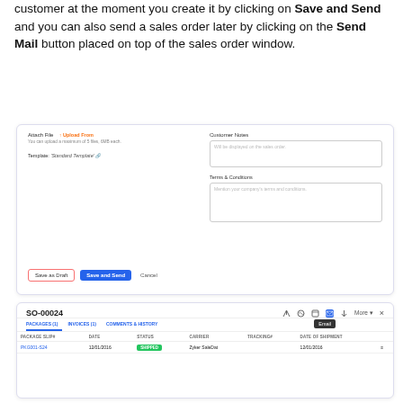customer at the moment you create it by clicking on Save and Send and you can also send a sales order later by clicking on the Send Mail button placed on top of the sales order window.
[Figure (screenshot): Screenshot of a sales order email dialog with Attach File, Upload From, Template fields on the left, and Customer Notes and Terms & Conditions text areas on the right. Buttons at bottom: Save as Draft, Save and Send, Cancel.]
[Figure (screenshot): Screenshot of SO-00024 sales order window with tabs PACKAGES(1), INVOICES(1), COMMENTS & HISTORY. Table row showing PKG001-S24, date 12/01/2016, status SHIPPED, carrier Zyker SaleDat, tracking blank, date of shipment 12/01/2016. An Email tooltip appears over the envelope icon.]